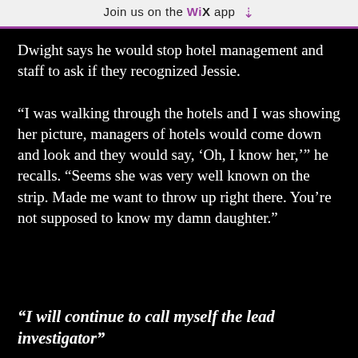Join us on the WiX app ⬇
Dwight says he would stop hotel management and staff to ask if they recognized Jessie.

“I was walking through the hotels and I was showing her picture, managers of hotels would come down and look and they would say, ‘Oh, I know her,’” he recalls. “Seems she was very well known on the strip. Made me want to throw up right there. You’re not supposed to know my damn daughter.”
“I will continue to call myself the lead investigator”